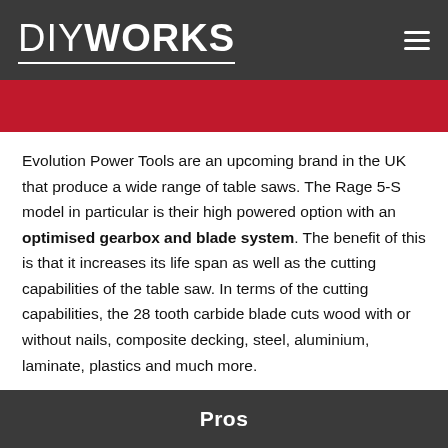DIYWORKS
Evolution Power Tools are an upcoming brand in the UK that produce a wide range of table saws. The Rage 5-S model in particular is their high powered option with an optimised gearbox and blade system. The benefit of this is that it increases its life span as well as the cutting capabilities of the table saw. In terms of the cutting capabilities, the 28 tooth carbide blade cuts wood with or without nails, composite decking, steel, aluminium, laminate, plastics and much more.
Pros